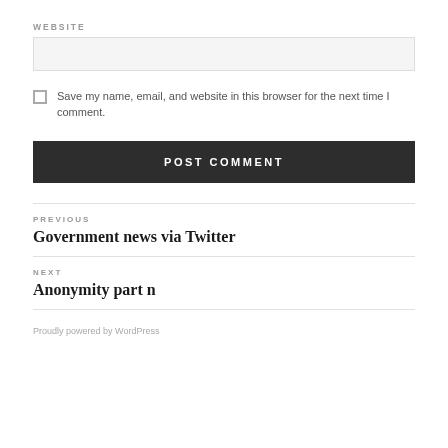WEBSITE
Save my name, email, and website in this browser for the next time I comment.
POST COMMENT
PREVIOUS
Government news via Twitter
NEXT
Anonymity part n
Proudly powered by WordPress